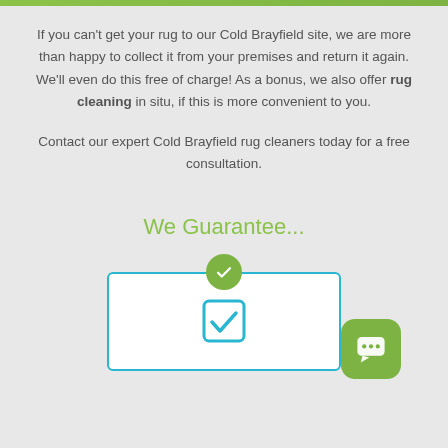If you can't get your rug to our Cold Brayfield site, we are more than happy to collect it from your premises and return it again. We'll even do this free of charge! As a bonus, we also offer rug cleaning in situ, if this is more convenient to you.
Contact our expert Cold Brayfield rug cleaners today for a free consultation.
We Guarantee...
[Figure (illustration): A white card/box with a blue border featuring a blue checkbox icon in the center, with a green circle containing a white checkmark at the top center of the card. A green rounded-square chat bubble icon is visible at the bottom right.]